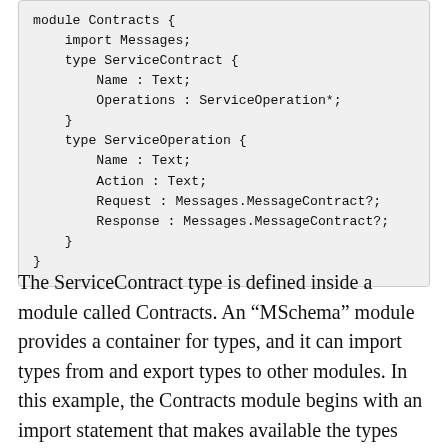[Figure (other): Code block showing an MSchema module definition named Contracts with types ServiceContract and ServiceOperation]
The ServiceContract type is defined inside a module called Contracts. An “MSchema” module provides a container for types, and it can import types from and export types to other modules. In this example, the Contracts module begins with an import statement that makes available the types defined in another module named Messages.